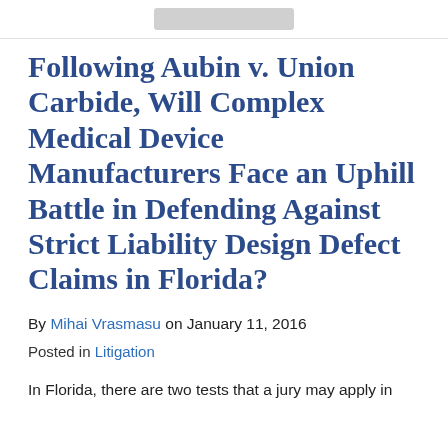Following Aubin v. Union Carbide, Will Complex Medical Device Manufacturers Face an Uphill Battle in Defending Against Strict Liability Design Defect Claims in Florida?
By Mihai Vrasmasu on January 11, 2016
Posted in Litigation
In Florida, there are two tests that a jury may apply in